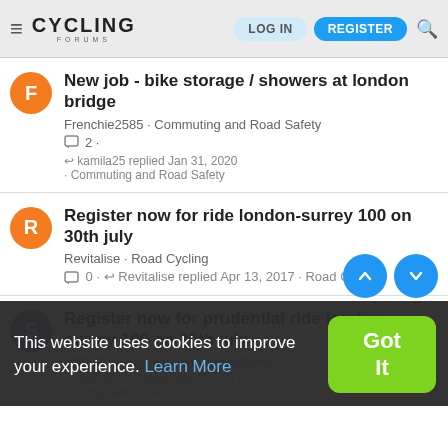Cycling Forums — LOG IN | REGISTER
New job - bike storage / showers at london bridge
Frenchie2585 · Commuting and Road Safety
2 ·
kamila25 replied Jan 31, 2020 · Commuting and Road Safety
Register now for ride london-surrey 100 on 30th july
Revitalise · Road Cycling
0 · Revitalise replied Apr 13, 2017 · Road Cycling
Register now for prudential ride london-surrey 100 on 30th july
starfish11 · Cycling News Headlines
starfish11 replied Mar 15, 2017
Cycling News Headlines
This website uses cookies to improve your experience. Learn More